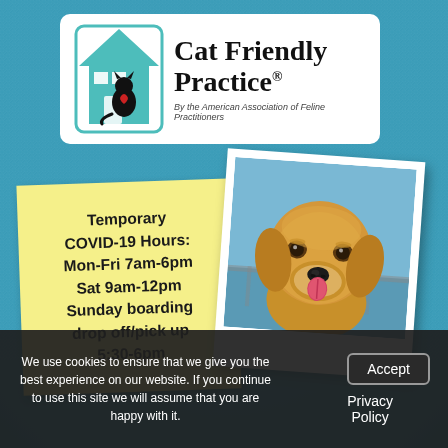[Figure (logo): Cat Friendly Practice logo — teal house silhouette with black cat and red heart, text 'Cat Friendly Practice®' with subtitle 'By the American Association of Feline Practitioners', on white rounded rectangle]
[Figure (infographic): Yellow sticky note with bold text: 'Temporary COVID-19 Hours: Mon-Fri 7am-6pm Sat 9am-12pm Sunday boarding drop off/pick up 5:30-6pm']
[Figure (photo): Polaroid-style photo of a golden retriever dog smiling, outdoors with water/railing in background]
We use cookies to ensure that we give you the best experience on our website. If you continue to use this site we will assume that you are happy with it.